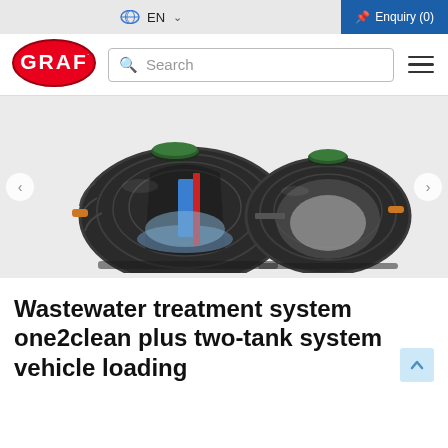EN  Enquiry (0)
[Figure (logo): GRAF company logo — red oval with white GRAF text]
Search
[Figure (photo): 3D illustration of GRAF one2clean plus two-tank wastewater treatment system showing cutaway view with internal components (blue and red filter elements, gravel bed) and second intact tank beside it, both with green-rimmed access hatches on top]
Wastewater treatment system one2clean plus two-tank system vehicle loading